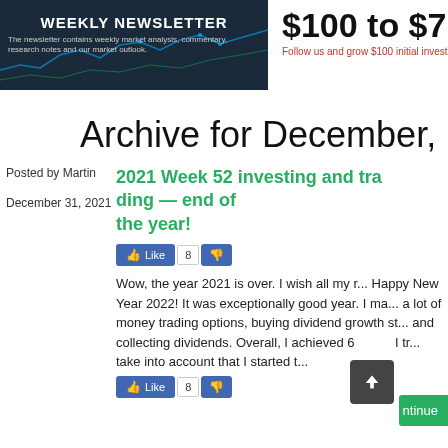[Figure (screenshot): Weekly Newsletter banner with dark background and market chart lines]
WEEKLY NEWSLETTER
The newsletter contains weekly market analysis, commentary, research notes and our market outlook.
$100 to $7
Follow us and grow $100 initial investment to
Archive for December, 2
Posted by Martin
December 31, 2021
2021 Week 52 investing and tra... the year!
Wow, the year 2021 is over. I wish all my r... 2022! It was exceptionally good year. I ma... trading options, buying dividend growth st... dividends. Overall, I achieved 6... I tr... take into account that I started t...